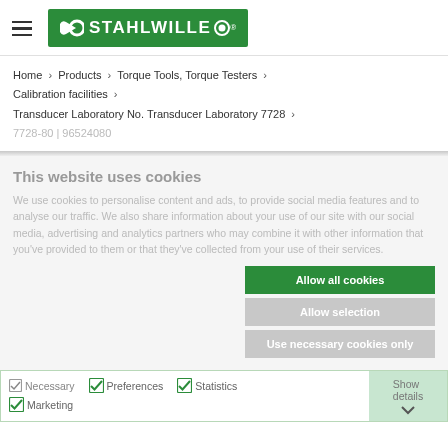[Figure (logo): Stahlwille logo with green background, white wrench icon and brand name]
Home > Products > Torque Tools, Torque Testers > Calibration facilities > Transducer Laboratory No. Transducer Laboratory 7728 > 7728-80 | 96524080
This website uses cookies
We use cookies to personalise content and ads, to provide social media features and to analyse our traffic. We also share information about your use of our site with our social media, advertising and analytics partners who may combine it with other information that you've provided to them or that they've collected from your use of their services.
Allow all cookies
Allow selection
Use necessary cookies only
Necessary  Preferences  Statistics  Marketing  Show details